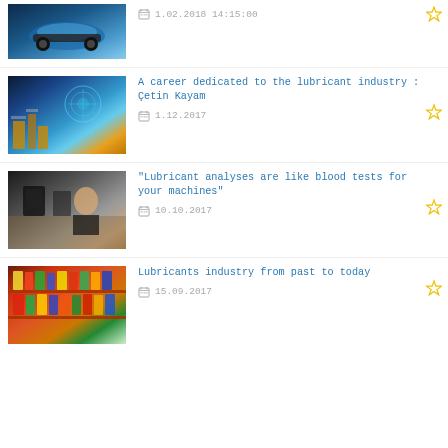[Figure (photo): Blue sports car thumbnail at top]
1.02.2018 14:15:00
[Figure (photo): Industrial/technology composite image]
A career dedicated to the lubricant industry : Çetin Kayam
1.12.2017
[Figure (photo): Woman at desk in office]
"Lubricant analyses are like blood tests for your machines"
10.10.2017
[Figure (photo): Lubricant products on store shelves]
Lubricants industry from past to today
15.09.2017